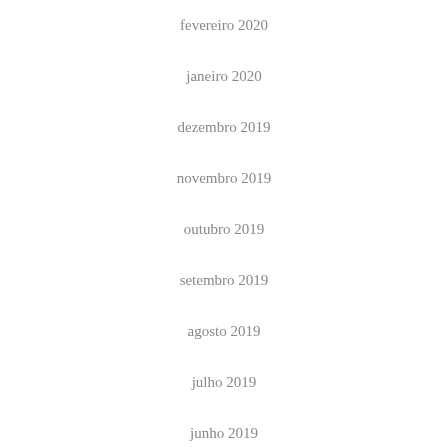fevereiro 2020
janeiro 2020
dezembro 2019
novembro 2019
outubro 2019
setembro 2019
agosto 2019
julho 2019
junho 2019
maio 2019
abril 2019
março 2019
fevereiro 2019